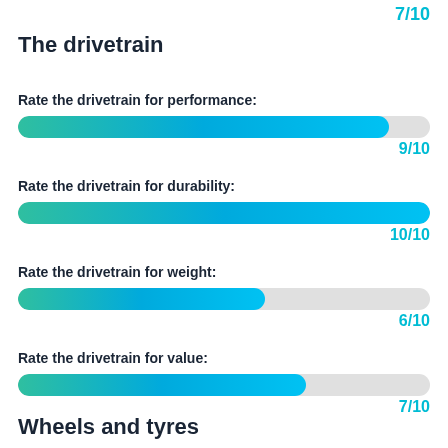7/10
The drivetrain
Rate the drivetrain for performance:
[Figure (bar-chart): Rate the drivetrain for performance]
9/10
Rate the drivetrain for durability:
[Figure (bar-chart): Rate the drivetrain for durability]
10/10
Rate the drivetrain for weight:
[Figure (bar-chart): Rate the drivetrain for weight]
6/10
Rate the drivetrain for value:
[Figure (bar-chart): Rate the drivetrain for value]
7/10
Wheels and tyres